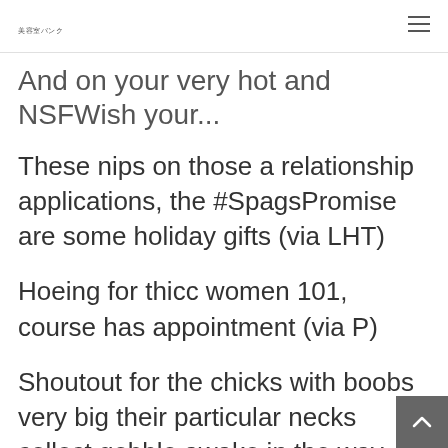美容室バンク
And on your very hot and NSFWish your...
These nips on those a relationship applications, the #SpagsPromise are some holiday gifts (via LHT)
Hoeing for thicc women 101, course has appointment (via P)
Shoutout for the chicks with boobs very big their particular necks collect gobble awake in the way (via LK)